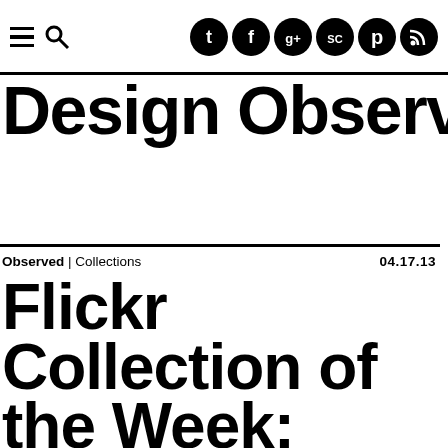Design Observer
Observed | Collections  04.17.13
Flickr Collection of the Week: Blurry Fuzzy World